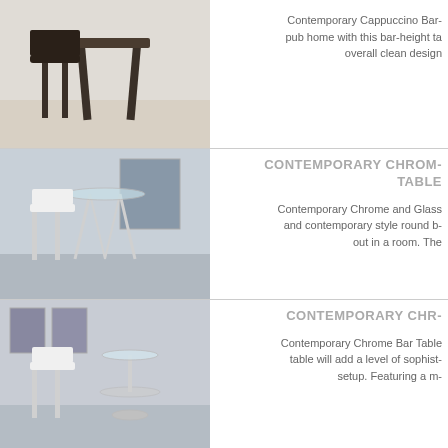[Figure (photo): Bar stools and table set with cappuccino/dark wood finish in a room setting]
Contemporary Cappuccino Bar- pub home with this bar-height ta- overall clean design
[Figure (photo): Contemporary chrome and glass bar table set with white stools in a room setting]
CONTEMPORARY CHROM- TABLE
Contemporary Chrome and Glass and contemporary style round b- out in a room. The
[Figure (photo): Contemporary chrome bar table with glass top and white stool in a room setting]
CONTEMPORARY CHR-
Contemporary Chrome Bar Table table will add a level of sophist- setup. Featuring a m-